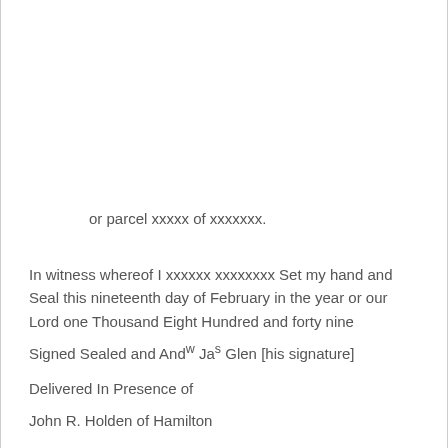or parcel xxxxx of xxxxxxx.
In witness whereof I xxxxxx xxxxxxxx Set my hand and Seal this nineteenth day of February in the year or our Lord one Thousand Eight Hundred and forty nine
Signed Sealed and Andw Jas Glen [his signature]
Delivered In Presence of
John R. Holden of Hamilton
Barrister at Law Geo E Start [his signature]